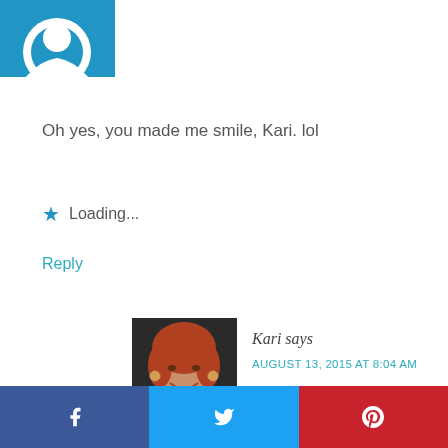[Figure (photo): Partial user avatar icon on blue background, cropped at top]
Oh yes, you made me smile, Kari. lol
★ Loading...
Reply
[Figure (photo): Photo of a woman with reddish-brown hair, smiling]
Kari says
AUGUST 13, 2015 AT 8:04 AM
thanks for stopping by Sandy...I smile when I think of my old friends...well, not that we are